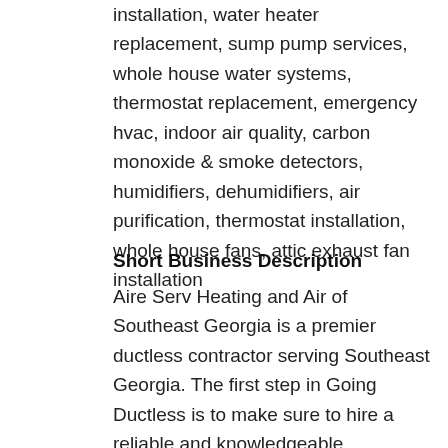installation, water heater replacement, sump pump services, whole house water systems, thermostat replacement, emergency hvac, indoor air quality, carbon monoxide & smoke detectors, humidifiers, dehumidifiers, air purification, thermostat installation, whole house fans, attic exhaust fan installation
Short Business Description
Aire Serv Heating and Air of Southeast Georgia is a premier ductless contractor serving Southeast Georgia. The first step in Going Ductless is to make sure to hire a reliable and knowledgeable contractor. Residents in Douglas and throughout Southeast Georgia, can expect knowledgeable advice from a contractor who cares. Air Serve Heating and Air has top notch technicians that are certified and trained to make sure your Ductless